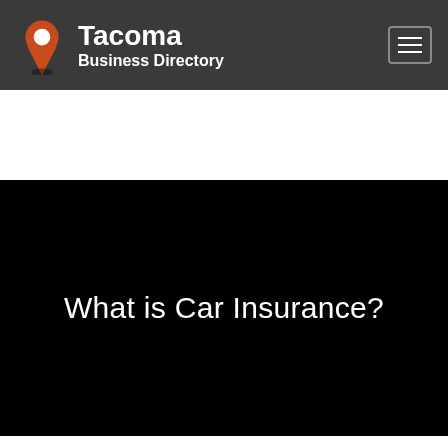Tacoma Business Directory
What is Car Insurance?
What is Car Insurance?